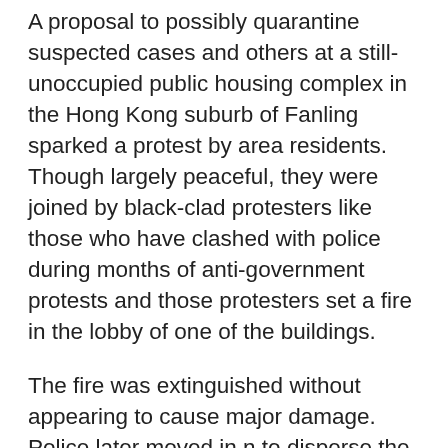A proposal to possibly quarantine suspected cases and others at a still-unoccupied public housing complex in the Hong Kong suburb of Fanling sparked a protest by area residents. Though largely peaceful, they were joined by black-clad protesters like those who have clashed with police during months of anti-government protests and those protesters set a fire in the lobby of one of the buildings.
The fire was extinguished without appearing to cause major damage. Police later moved in n to disperse the group, using pepper spray on occasion.
In the heart of the outbreak where 11 million residents are already on lockdown, Wuhan banned most vehicle use, including private cars, in downtown areas starting Sunday. The city will assign 6,000 taxis to